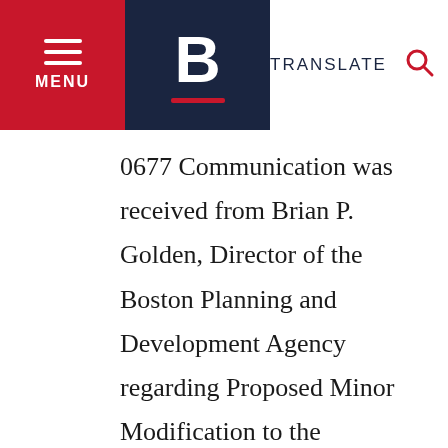MENU | B | TRANSLATE
0677 Communication was received from Brian P. Golden, Director of the Boston Planning and Development Agency regarding Proposed Minor Modification to the Charlestown Urban Renewal Plan, Project No. Mass. R-55, with respect to the creation of Parcel c-2a-5.